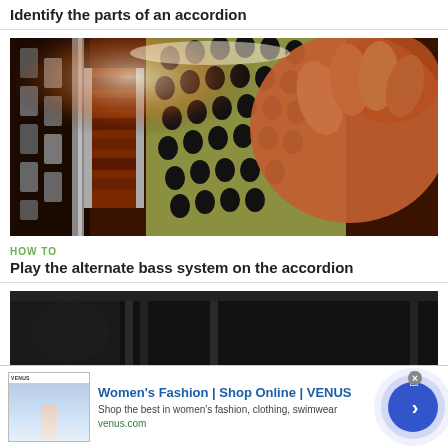Identify the parts of an accordion
[Figure (photo): Close-up photo of a hand playing the bass buttons on an accordion, showing black buttons and chrome grille]
HOW TO
Play the alternate bass system on the accordion
[Figure (photo): Dark photo of an accordion]
[Figure (other): Advertisement banner: Women's Fashion | Shop Online | VENUS - Shop the best in women's fashion, clothing, swimwear - venus.com]